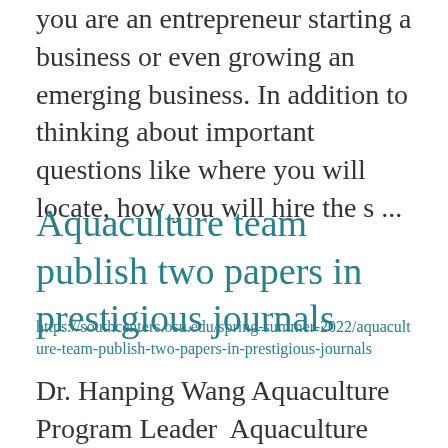you are an entrepreneur starting a business or even growing an emerging business. In addition to thinking about important questions like where you will locate, how you will hire the s ...
Aquaculture team publish two papers in prestigious journals
https://southcenters.osu.edu/spring-summer-2022/aquaculture-team-publish-two-papers-in-prestigious-journals
Dr. Hanping Wang Aquaculture Program Leader  Aquaculture team members recently published two papers related to production of monosex fish and sex control in aquaculture in prestigious